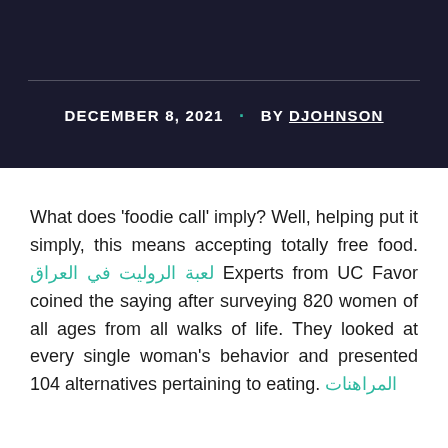DECEMBER 8, 2021 · BY DJOHNSON
What does 'foodie call' imply? Well, helping put it simply, this means accepting totally free food. لعبة الروليت في العراق Experts from UC Favor coined the saying after surveying 820 women of all ages from all walks of life. They looked at every single woman's behavior and presented 104 alternatives pertaining to eating. المراهنات